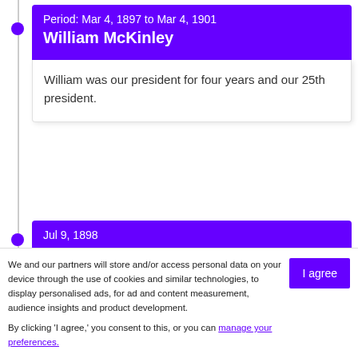Period: Mar 4, 1897 to Mar 4, 1901
William McKinley
William was our president for four years and our 25th president.
Jul 9, 1898
The 14th Amendment
We and our partners will store and/or access personal data on your device through the use of cookies and similar technologies, to display personalised ads, for ad and content measurement, audience insights and product development.

By clicking 'I agree,' you consent to this, or you can manage your preferences.